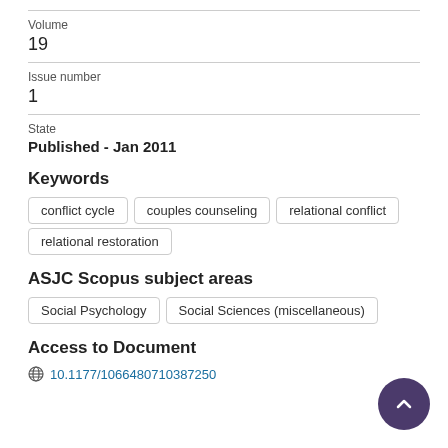Volume
19
Issue number
1
State
Published - Jan 2011
Keywords
conflict cycle
couples counseling
relational conflict
relational restoration
ASJC Scopus subject areas
Social Psychology
Social Sciences (miscellaneous)
Access to Document
10.1177/1066480710387250